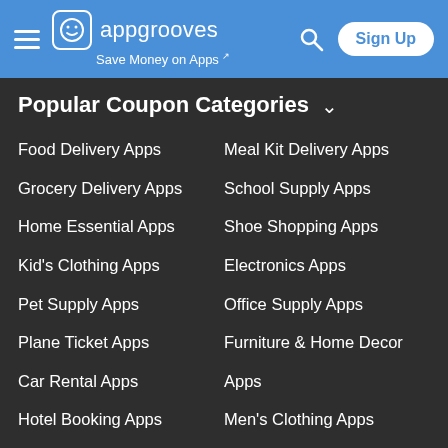appgrooves — Save Money on Apps — Sign Up
Popular Coupon Categories
Food Delivery Apps
Meal Kit Delivery Apps
Grocery Delivery Apps
School Supply Apps
Home Essential Apps
Shoe Shopping Apps
Kid's Clothing Apps
Electronics Apps
Pet Supply Apps
Office Supply Apps
Plane Ticket Apps
Furniture & Home Decor Apps
Car Rental Apps
Men's Clothing Apps
Hotel Booking Apps
Men's Clothing Apps